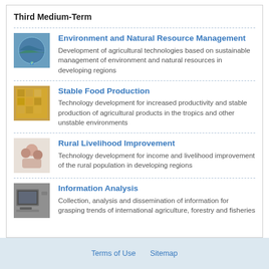Third Medium-Term
Environment and Natural Resource Management — Development of agricultural technologies based on sustainable management of environment and natural resources in developing regions
Stable Food Production — Technology development for increased productivity and stable production of agricultural products in the tropics and other unstable environments
Rural Livelihood Improvement — Technology development for income and livelihood improvement of the rural population in developing regions
Information Analysis — Collection, analysis and dissemination of information for grasping trends of international agriculture, forestry and fisheries
Terms of Use   Sitemap